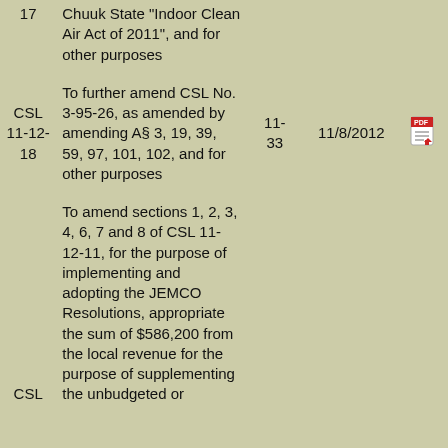| Number | Description | Session | Date | Link |
| --- | --- | --- | --- | --- |
| 17 | Chuuk State "Indoor Clean Air Act of 2011", and for other purposes |  |  |  |
| CSL 11-12-18 | To further amend CSL No. 3-95-26, as amended by amending A§ 3, 19, 39, 59, 97, 101, 102, and for other purposes | 11-33 | 11/8/2012 | [pdf] |
| CSL | To amend sections 1, 2, 3, 4, 6, 7 and 8 of CSL 11-12-11, for the purpose of implementing and adopting the JEMCO Resolutions, appropriate the sum of $586,200 from the local revenue for the purpose of supplementing the unbudgeted or |  |  |  |